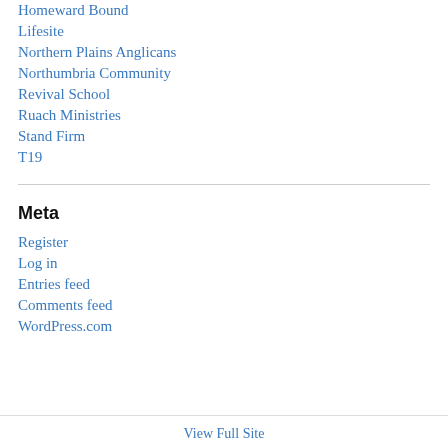Homeward Bound
Lifesite
Northern Plains Anglicans
Northumbria Community
Revival School
Ruach Ministries
Stand Firm
T19
Meta
Register
Log in
Entries feed
Comments feed
WordPress.com
View Full Site